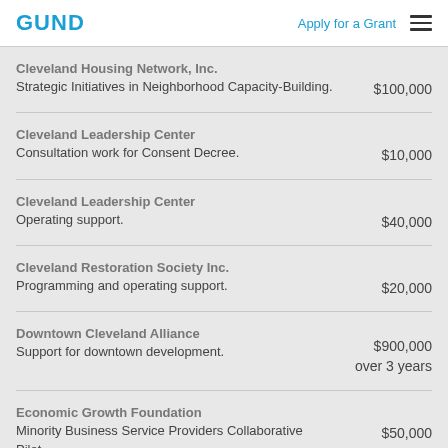GUND | Apply for a Grant
| Organization / Description | Amount |
| --- | --- |
| Cleveland Housing Network, Inc.
Strategic Initiatives in Neighborhood Capacity-Building. | $100,000 |
| Cleveland Leadership Center
Consultation work for Consent Decree. | $10,000 |
| Cleveland Leadership Center
Operating support. | $40,000 |
| Cleveland Restoration Society Inc.
Programming and operating support. | $20,000 |
| Downtown Cleveland Alliance
Support for downtown development. | $900,000 over 3 years |
| Economic Growth Foundation
Minority Business Service Providers Collaborative Pilot. | $50,000 |